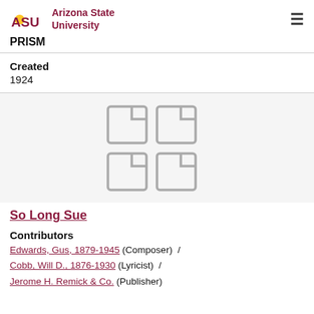ASU Arizona State University PRISM
Created
1924
[Figure (illustration): Four document/page icons arranged in a 2x2 grid, shown in gray outline style]
So Long Sue
Contributors
Edwards, Gus, 1879-1945 (Composer) / Cobb, Will D., 1876-1930 (Lyricist) / Jerome H. Remick & Co. (Publisher)